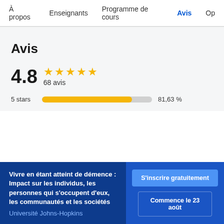À propos   Enseignants   Programme de cours   Avis   Op
Avis
4.8  ★★★★★  68 avis
5 stars  81,63 %
Vivre en étant atteint de démence : Impact sur les individus, les personnes qui s'occupent d'eux, les communautés et les sociétés
Université Johns-Hopkins
S'inscrire gratuitement
Commence le 23 août